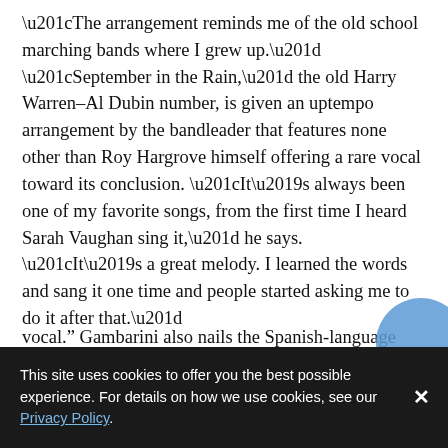“The arrangement reminds me of the old school marching bands where I grew up.” “September in the Rain,” the old Harry Warren–Al Dubin number, is given an uptempo arrangement by the bandleader that features none other than Roy Hargrove himself offering a rare vocal toward its conclusion. “It’s always been one of my favorite songs, from the first time I heard Sarah Vaughan sing it,” he says. “It’s a great melody. I learned the words and sang it one time and people started asking me to do it after that.”
The last of the standards, Cole Porter’s “Everytime We Say Goodbye,” is a lush ballad featuring Hargrove’s label mate, Grammy nominee and “Rising Star Female Vocalist of the Year” (DownBeat Critics’ Poll, 2008) Roberta Gambarini. “Coltrane has three versions of that and then there are
vocal.” Gambarini also nails the Spanish-language vocal
This site uses cookies to offer you the best possible experience. For details on how we use cookies, see our Privacy Policy.